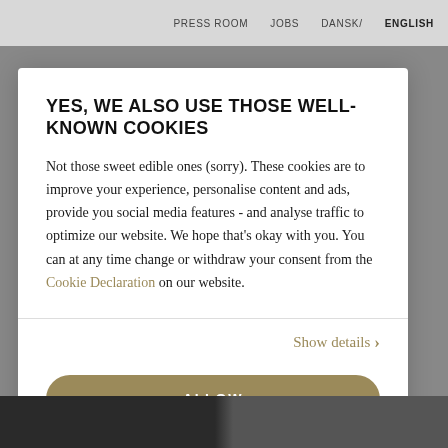PRESS ROOM   JOBS   DANSK/ ENGLISH
YES, WE ALSO USE THOSE WELL-KNOWN COOKIES
Not those sweet edible ones (sorry). These cookies are to improve your experience, personalise content and ads, provide you social media features - and analyse traffic to optimize our website. We hope that's okay with you. You can at any time change or withdraw your consent from the Cookie Declaration on our website.
Show details ›
ALLOW
Powered by Cookiebot by Usercentrics